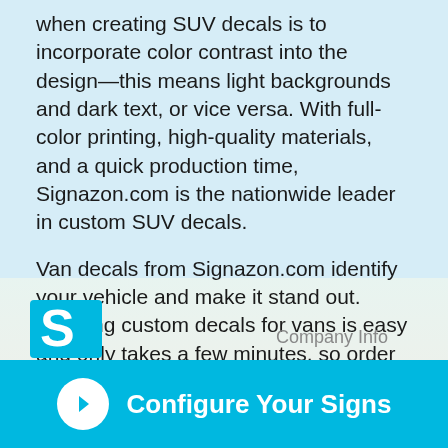when creating SUV decals is to incorporate color contrast into the design—this means light backgrounds and dark text, or vice versa. With full-color printing, high-quality materials, and a quick production time, Signazon.com is the nationwide leader in custom SUV decals.
Van decals from Signazon.com identify your vehicle and make it stand out. Creating custom decals for vans is easy and only takes a few minutes, so order SUV decals today!
[Figure (logo): Signazon logo — blue square with white S letter]
Company Info
Configure Your Signs